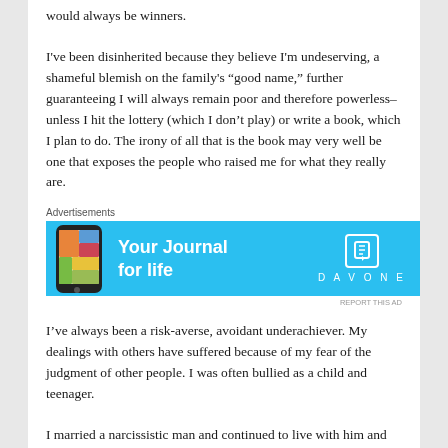would always be winners.
I've been disinherited because they believe I'm undeserving, a shameful blemish on the family's “good name,” further guaranteeing I will always remain poor and therefore powerless–unless I hit the lottery (which I don’t play) or write a book, which I plan to do. The irony of all that is the book may very well be one that exposes the people who raised me for what they really are.
[Figure (screenshot): Advertisement banner for DayOne journal app with blue background showing phone mockup and text 'Your Journal for life' with DayOne logo]
I’ve always been a risk-averse, avoidant underachiever. My dealings with others have suffered because of my fear of the judgment of other people. I was often bullied as a child and teenager.
I married a narcissistic man and continued to live with him and allow his abuse even years after we were divorced.